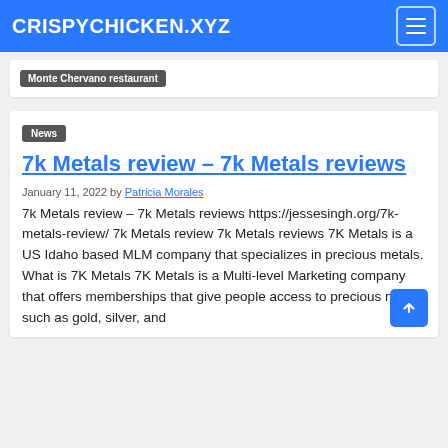CRISPYCHICKEN.XYZ
Monte Chervano restaurant
News
7k Metals review – 7k Metals reviews
January 11, 2022 by Patricia Morales
7k Metals review – 7k Metals reviews https://jessesingh.org/7k-metals-review/ 7k Metals review 7k Metals reviews 7K Metals is a US Idaho based MLM company that specializes in precious metals. What is 7K Metals 7K Metals is a Multi-level Marketing company that offers memberships that give people access to precious metals such as gold, silver, and